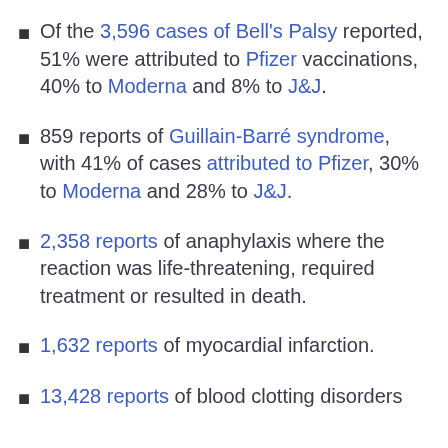Of the 3,596 cases of Bell's Palsy reported, 51% were attributed to Pfizer vaccinations, 40% to Moderna and 8% to J&J.
859 reports of Guillain-Barré syndrome, with 41% of cases attributed to Pfizer, 30% to Moderna and 28% to J&J.
2,358 reports of anaphylaxis where the reaction was life-threatening, required treatment or resulted in death.
1,632 reports of myocardial infarction.
13,428 reports of blood clotting disorders